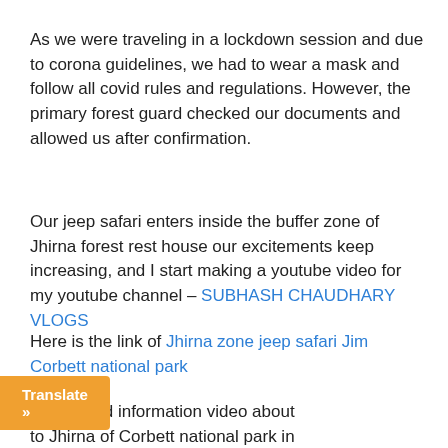As we were traveling in a lockdown session and due to corona guidelines, we had to wear a mask and follow all covid rules and regulations. However, the primary forest guard checked our documents and allowed us after confirmation.
Our jeep safari enters inside the buffer zone of Jhirna forest rest house our excitements keep increasing, and I start making a youtube video for my youtube channel – SUBHASH CHAUDHARY VLOGS
Here is the link of Jhirna zone jeep safari Jim Corbett national park
he detailed information video about to Jhirna of Corbett national park in
[Figure (other): Orange 'Translate »' button overlay at bottom left]